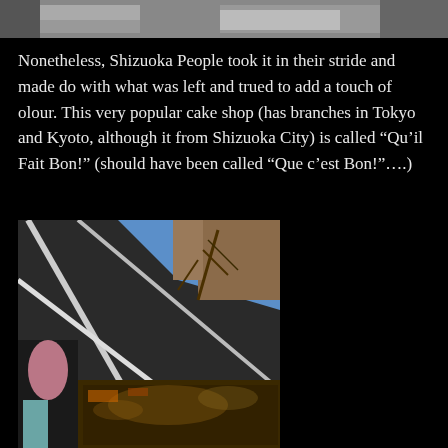[Figure (photo): Top portion of a photo showing an urban street scene, partially cropped at the top of the page]
Nonetheless, Shizuoka People took it in their stride and made do with what was left and trued to add a touch of olour. This very popular cake shop (has branches in Tokyo and Kyoto, although it from Shizuoka City) is called “Qu’il Fait Bon!” (should have been called “Que c’est Bon!”….)
[Figure (photo): Interior/exterior photograph of a building or shopping area in Shizuoka, showing a glass ceiling or window reflecting trees and a street scene with warm interior lighting below]